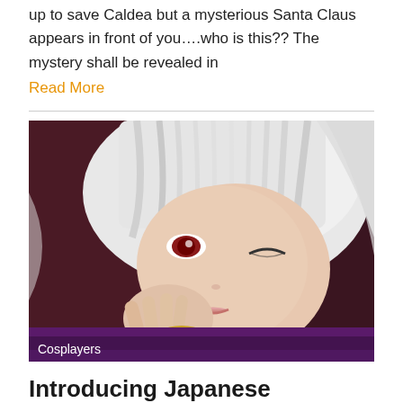up to save Caldea but a mysterious Santa Claus appears in front of you….who is this?? The mystery shall be revealed in
Read More
[Figure (photo): Close-up photo of a Japanese cosplayer with white/silver hair and red eyes, one eye open and one eye closed in a wink, wearing a purple costume with gold accessories. A 'Cosplayers' label appears in the bottom left corner of the image.]
Introducing Japanese Cosplayer Vol.5 “Cha-cha”